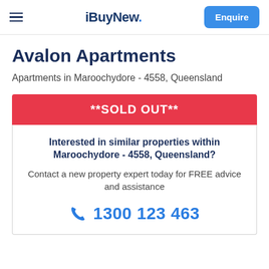iBuyNew. Enquire
Avalon Apartments
Apartments in Maroochydore - 4558, Queensland
**SOLD OUT**
Interested in similar properties within Maroochydore - 4558, Queensland?
Contact a new property expert today for FREE advice and assistance
1300 123 463